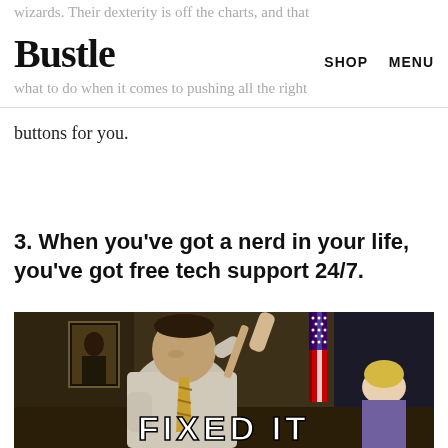Bustle | SHOP | MENU
what to do when it comes to pushing all the right buttons for you.
3. When you've got a nerd in your life, you've got free tech support 24/7.
[Figure (photo): A still from an SNL-style sketch showing a heavyset man in a white shirt and tie holding a baseball bat over his shoulder, standing in what appears to be an Oval Office-type set with an American flag, a portrait on the wall, and a woman sitting at a desk in the background. White text at the bottom reads 'FIXED IT'.]